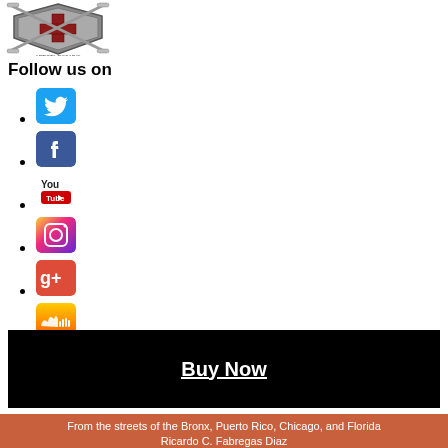[Figure (logo): Artista-Rosario logo with crossed swords and shield, gray metallic style]
Follow us on
Twitter icon
Facebook icon
YouTube icon
Instagram icon
Google+ icon
SoundCloud icon
[Figure (other): Black promotional video/banner block with Buy Now link]
From the streets of the Bronx, Puerto Rico, Chicago, and Florida Ricardo C. Fabregas Diaz